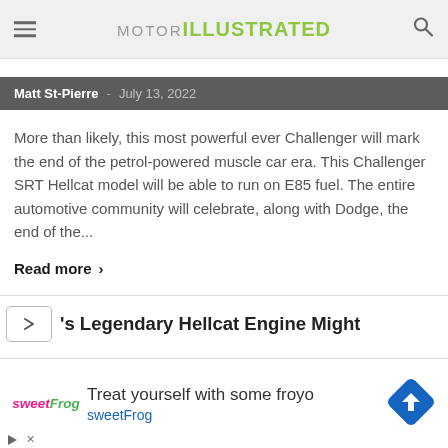MOTOR ILLUSTRATED
Matt St-Pierre  -  July 13, 2022
More than likely, this most powerful ever Challenger will mark the end of the petrol-powered muscle car era. This Challenger SRT Hellcat model will be able to run on E85 fuel. The entire automotive community will celebrate, along with Dodge, the end of the...
Read more >
's Legendary Hellcat Engine Might
[Figure (other): Advertisement banner for sweetFrog frozen yogurt. Shows sweetFrog logo, text 'Treat yourself with some froyo', 'sweetFrog', and a navigation/directions icon diamond shape.]